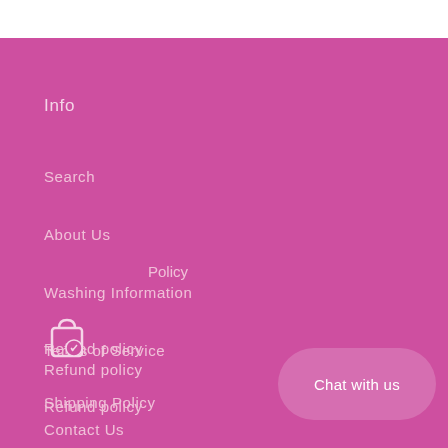Info
Search
About Us
Washing Information
Terms of Service
Refund policy
Shipping Policy
Policy
Contact Us
Chat with us